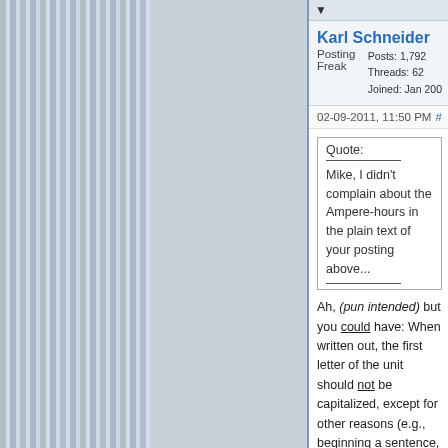▼
Karl Schneider
Posting Freak
Posts: 1,792
Threads: 62
Joined: Jan 200
02-09-2011, 11:50 PM	#
Quote:
Mike, I didn't complain about the Ampere-hours in the plain text of your posting above...
Ah, (pun intended) but you could have: When written out, the first letter of the unit should not be capitalized, except for other reasons (e.g., beginning a sentence, or if in all caps). I was mildly chastised for such a mistake years ago.
I don't know if accepted practice differs around the world, but that's ours.
-- Karl